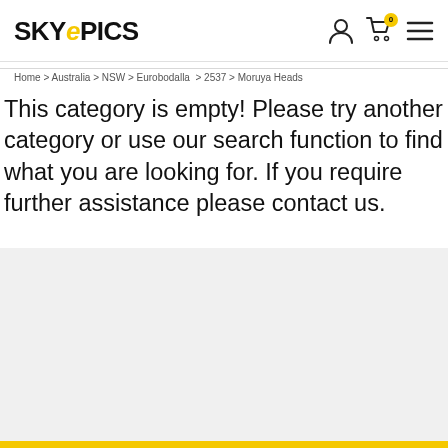SKYePICS
Home > Australia > NSW > Eurobodalla > 2537 > Moruya Heads
This category is empty! Please try another category or use our search function to find what you are looking for. If you require further assistance please contact us.